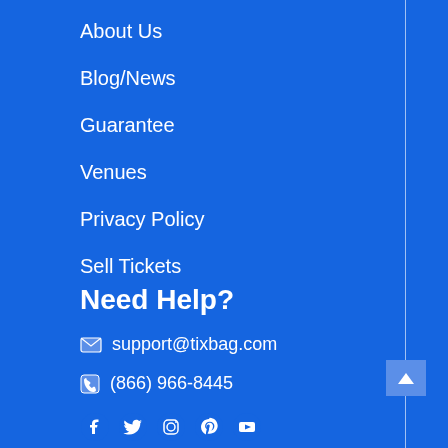About Us
Blog/News
Guarantee
Venues
Privacy Policy
Sell Tickets
Need Help?
support@tixbag.com
(866) 966-8445
[Figure (other): Social media icons: Facebook, Twitter, Instagram, Pinterest, YouTube]
[Figure (other): Google Play badge: GET IT ON Google Play with colored play arrow icon]